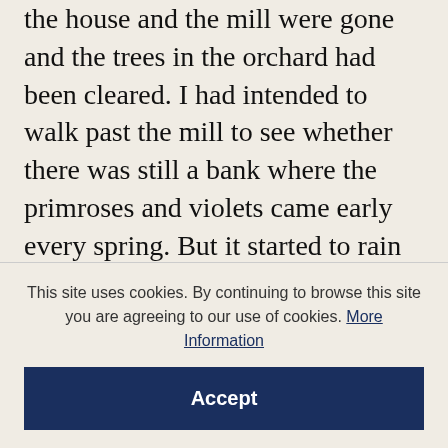the house and the mill were gone and the trees in the orchard had been cleared. I had intended to walk past the mill to see whether there was still a bank where the primroses and violets came early every spring. But it started to rain and I turned back to my hotel.' Passages such as these express a poignant truth. Hood chose, as his father did not, to make the break, to turn his back on the primrose bank. For a Marxist like him, paradise must be made in the future and outside world. And yet the lingering figure of the wet old man, going
This site uses cookies. By continuing to browse this site you are agreeing to our use of cookies. More Information
Accept